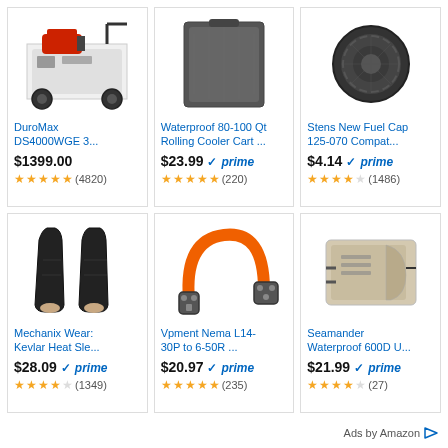[Figure (photo): DuroMax generator product image]
DuroMax DS4000WGE 3...
$1399.00
4.5 stars (4820)
[Figure (photo): Waterproof rolling cooler cart cover product image]
Waterproof 80-100 Qt Rolling Cooler Cart ...
$23.99 prime
5 stars (220)
[Figure (photo): Stens fuel cap product image]
Stens New Fuel Cap 125-070 Compat...
$4.14 prime
3.5 stars (1486)
[Figure (photo): Mechanix Wear Kevlar heat sleeve product image]
Mechanix Wear: Kevlar Heat Sle...
$28.09 prime
4 stars (1349)
[Figure (photo): Vpment Nema L14-30P to 6-50R adapter cable product image]
Vpment Nema L14-30P to 6-50R ...
$20.97 prime
4.5 stars (235)
[Figure (photo): Seamander waterproof generator cover product image]
Seamander Waterproof 600D U...
$21.99 prime
4 stars (27)
Ads by Amazon